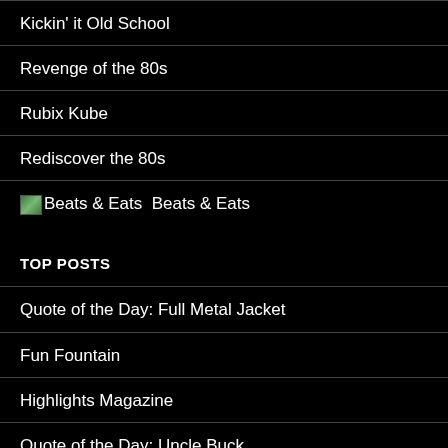Kickin' it Old School
Revenge of the 80s
Rubix Kube
Rediscover the 80s
Beats & Eats
TOP POSTS
Quote of the Day: Full Metal Jacket
Fun Fountain
Highlights Magazine
Quote of the Day: Uncle Buck
Quote of the Day: Fast Times at Ridgemont High